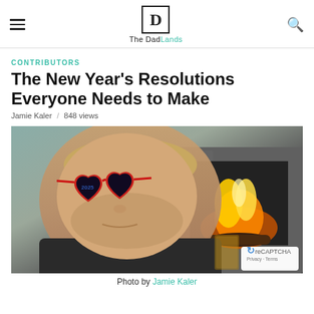The DadLands
CONTRIBUTORS
The New Year's Resolutions Everyone Needs to Make
Jamie Kaler / 848 views
[Figure (photo): Man wearing red heart-shaped sunglasses making a funny expression, seated in front of a lit fireplace with a drink, in a casual setting.]
Photo by Jamie Kaler